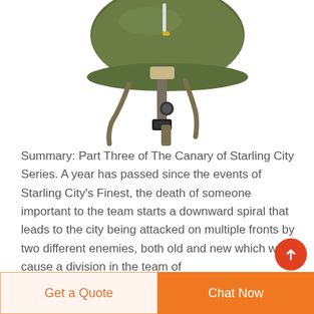[Figure (photo): Military helmet with olive green shell and black/tan chin strap assembly with buckles, viewed from below/side angle on white background]
Summary: Part Three of The Canary of Starling City Series. A year has passed since the events of Starling City's Finest, the death of someone important to the team starts a downward spiral that leads to the city being attacked on multiple fronts by two different enemies, both old and new which will cause a division in the team of
Get a Quote
Chat Now